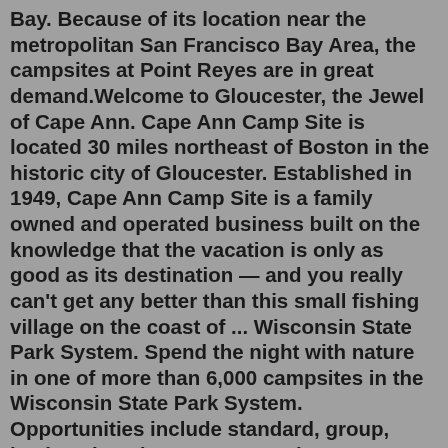Bay. Because of its location near the metropolitan San Francisco Bay Area, the campsites at Point Reyes are in great demand.Welcome to Gloucester, the Jewel of Cape Ann. Cape Ann Camp Site is located 30 miles northeast of Boston in the historic city of Gloucester. Established in 1949, Cape Ann Camp Site is a family owned and operated business built on the knowledge that the vacation is only as good as its destination — and you really can't get any better than this small fishing village on the coast of ... Wisconsin State Park System. Spend the night with nature in one of more than 6,000 campsites in the Wisconsin State Park System. Opportunities include standard, group, backpack and water access sites; accessible campsites and cabins for persons with disabilities; indoor group camps and equestrian campgrounds. Make your reservation today!9.7 Little Hill Farm St Leonards 0.2 miles From £25 †. 8.9 St Leonards Farm Caravan and Camping Park Bournemouth 1.2 miles From £19 †. 9.1 Clayford Field Wimborne 2.7 miles From £22 †. 9.5 Crooked Willows Farm Wimborne 2.9 miles From